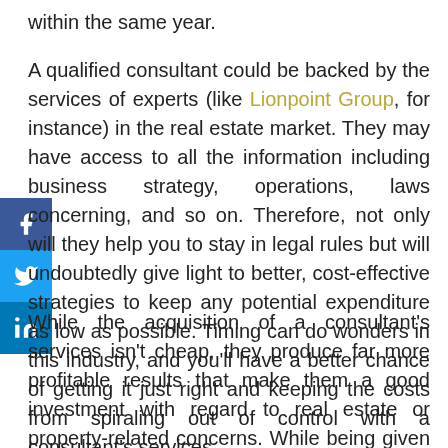within the same year.
A qualified consultant could be backed by the services of experts (like Lionpoint Group, for instance) in the real estate market. They may have access to all the information including business strategy, operations, laws concerning, and so on. Therefore, not only will they help you to stay in legal rules but will undoubtedly give light to better, cost-effective strategies to keep any potential expenditure as low as possible. Timing can do wonders in this industry, and you'll have a better chance of getting it just right and keeping the costs from spiraling out of control with a consultant's services.
While the acquisition of a consultant's services isn't cheap, they produce far more profitable results that make them a good investment with regard to real estate or property-related concerns. While being given invaluable advice is certainly not something to scoff at, their services generally